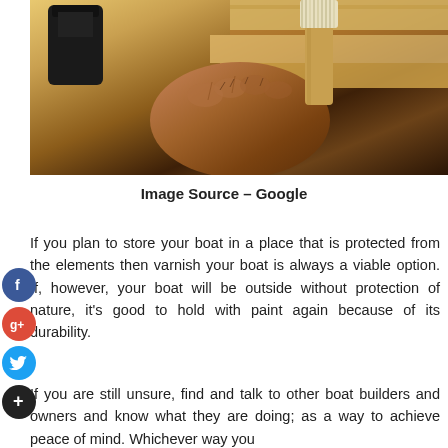[Figure (photo): A hand holding a paintbrush, applying varnish or paint to wooden boat planks. A dark container is visible in the background.]
Image Source – Google
If you plan to store your boat in a place that is protected from the elements then varnish your boat is always a viable option. If, however, your boat will be outside without protection of nature, it's good to hold with paint again because of its durability.
If you are still unsure, find and talk to other boat builders and owners and know what they are doing; as a way to achieve peace of mind. Whichever way you